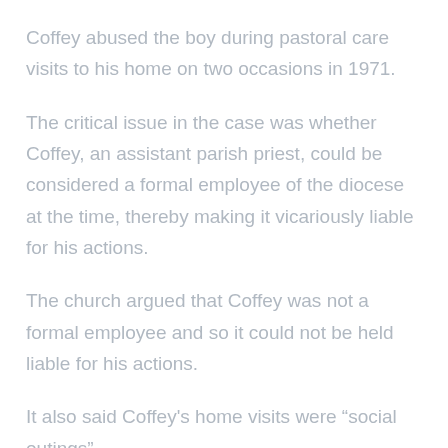Coffey abused the boy during pastoral care visits to his home on two occasions in 1971.
The critical issue in the case was whether Coffey, an assistant parish priest, could be considered a formal employee of the diocese at the time, thereby making it vicariously liable for his actions.
The church argued that Coffey was not a formal employee and so it could not be held liable for his actions.
It also said Coffey's home visits were “social outings”